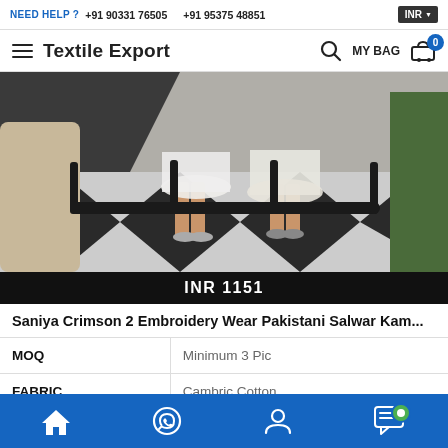NEED HELP ? +91 90331 76505   +91 95375 48851   INR
Textile Export   MY BAG  0
[Figure (photo): Fashion product photo showing two women in embroidered Pakistani salwar kameez outfits standing on black and white checkered floor]
INR 1151
Saniya Crimson 2 Embroidery Wear Pakistani Salwar Kam...
| Attribute | Value |
| --- | --- |
| MOQ | Minimum 3 Pic |
| FABRIC | Cambric Cotton |
| TYPE | Salwar Kameez |
Home | WhatsApp | Account | Chat